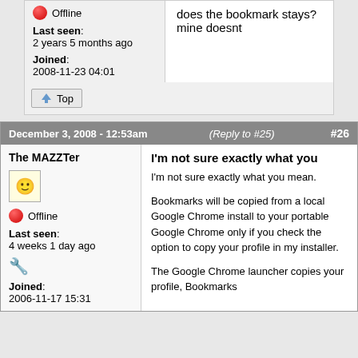Offline
Last seen: 2 years 5 months ago
Joined: 2008-11-23 04:01
does the bookmark stays?
mine doesnt
Top
December 3, 2008 - 12:53am  (Reply to #25)  #26
The MAZZTer
Offline
Last seen: 4 weeks 1 day ago
Joined: 2006-11-17 15:31
I'm not sure exactly what you
I'm not sure exactly what you mean.

Bookmarks will be copied from a local Google Chrome install to your portable Google Chrome only if you check the option to copy your profile in my installer.

The Google Chrome launcher copies your profile, Bookmarks